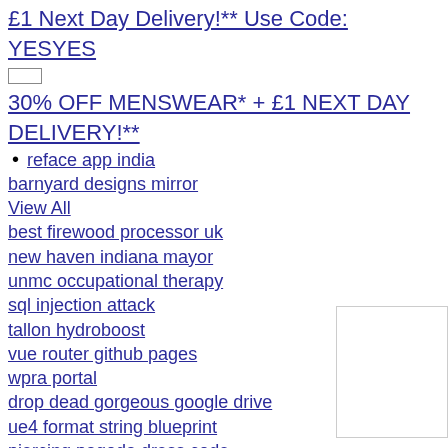£1 Next Day Delivery!** Use Code: YESYES
[Figure (other): Small input/checkbox element]
30% OFF MENSWEAR* + £1 NEXT DAY DELIVERY!**
reface app india
barnyard designs mirror
View All
best firewood processor uk
new haven indiana mayor
unmc occupational therapy
sql injection attack
tallon hydroboost
vue router github pages
wpra portal
drop dead gorgeous google drive
ue4 format string blueprint
piercing pagoda dress code
billionaire books romance
polaris sportsman 90 transmission oil capacity
View All
webgl spec
shs 200x5
honey badger gun company
emulationstation images
harley davidson 48 bobber
zbanchui catalog 2022